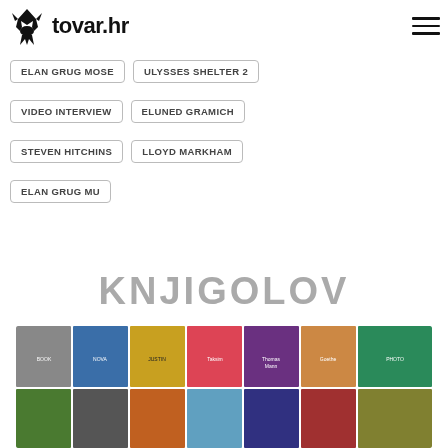tovar.hr
ELAN GRUG MOSE
ULYSSES SHELTER 2
VIDEO INTERVIEW
ELUNED GRAMICH
STEVEN HITCHINS
LLOYD MARKHAM
ELAN GRUG MU
KNJIGOLOV
[Figure (photo): A collage of book covers arranged in a grid pattern, showing various novels and publications.]